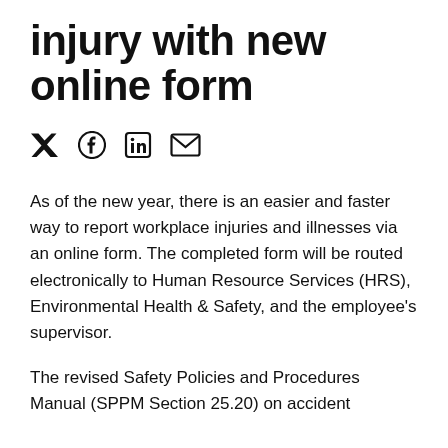injury with new online form
[Figure (other): Social media share icons: Twitter, Facebook, LinkedIn, Email]
As of the new year, there is an easier and faster way to report workplace injuries and illnesses via an online form. The completed form will be routed electronically to Human Resource Services (HRS), Environmental Health & Safety, and the employee's supervisor.
The revised Safety Policies and Procedures Manual (SPPM Section 25.20) on accident